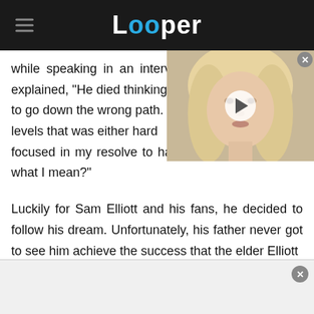Looper
while speaking in an interview with The Star. he explained, "He died thinking to go down the wrong path. levels that was either hard focused in my resolve to have a career, you know what I mean?"
[Figure (photo): Video thumbnail showing a blonde woman's face with a play button overlay]
Luckily for Sam Elliott and his fans, he decided to follow his dream. Unfortunately, his father never got to see him achieve the success that the elder Elliott